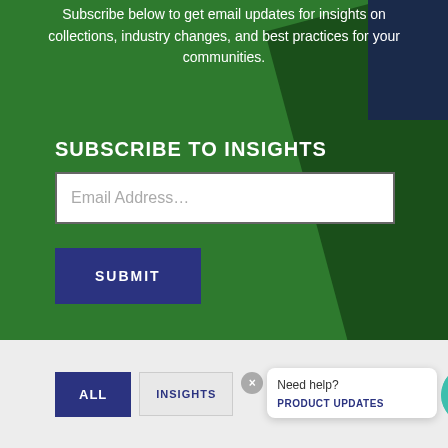Subscribe below to get email updates for insights on collections, industry changes, and best practices for your communities.
SUBSCRIBE TO INSIGHTS
[Figure (screenshot): Email address input field with placeholder text 'Email Address...']
[Figure (screenshot): Submit button in dark navy blue with white uppercase text 'SUBMIT']
[Figure (screenshot): Filter tab buttons row: ALL (active, navy), INSIGHTS (light), and chat widget with 'Need help? PRODUCT UPDATES' and avatar icon]